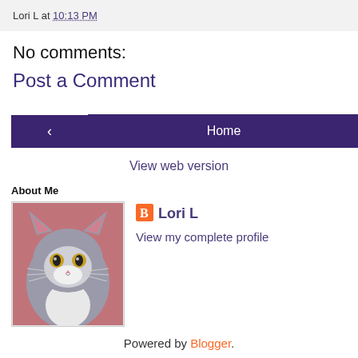Lori L at 10:13 PM
No comments:
Post a Comment
‹ Home › View web version
About Me
Lori L
View my complete profile
Powered by Blogger.